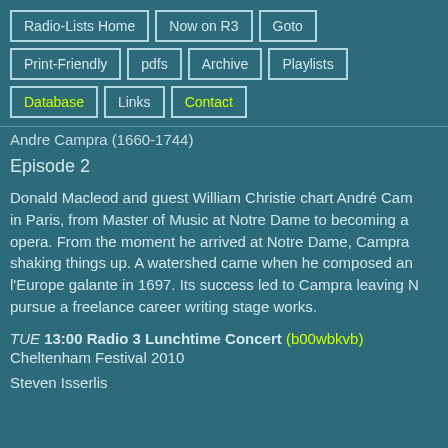Radio-Lists Home
Now on R3
Goto
Print-Friendly
pdfs
Archive
Playlists
Database
Links
Contact
Andre Campra (1660-1744)
Episode 2
Donald Macleod and guest William Christie chart André Campra's career in Paris, from Master of Music at Notre Dame to becoming a composer of opera. From the moment he arrived at Notre Dame, Campra was shaking things up. A watershed came when he composed and staged l'Europe galante in 1697. Its success led to Campra leaving N... pursue a freelance career writing stage works.
TUE 13:00 Radio 3 Lunchtime Concert (b00wbkvb) Cheltenham Festival 2010
Steven Isserlis